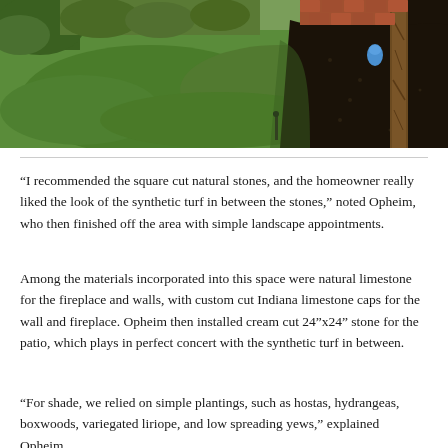[Figure (photo): Outdoor lawn and garden area showing green grass with dark mulch bed on the right containing a tree trunk, a small blue object near the tree, and brick/stone retaining wall elements visible in the background.]
“I recommended the square cut natural stones, and the homeowner really liked the look of the synthetic turf in between the stones,” noted Opheim, who then finished off the area with simple landscape appointments.
Among the materials incorporated into this space were natural limestone for the fireplace and walls, with custom cut Indiana limestone caps for the wall and fireplace. Opheim then installed cream cut 24”x24” stone for the patio, which plays in perfect concert with the synthetic turf in between.
“For shade, we relied on simple plantings, such as hostas, hydrangeas, boxwoods, variegated liriope, and low spreading yews,” explained Opheim.